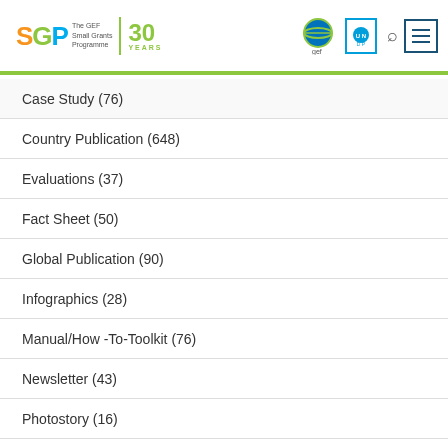SGP The GEF Small Grants Programme | 30 YEARS — GEF UNDP
Case Study (76)
Country Publication (648)
Evaluations (37)
Fact Sheet (50)
Global Publication (90)
Infographics (28)
Manual/How -To-Toolkit (76)
Newsletter (43)
Photostory (16)
Report/Publication (242)